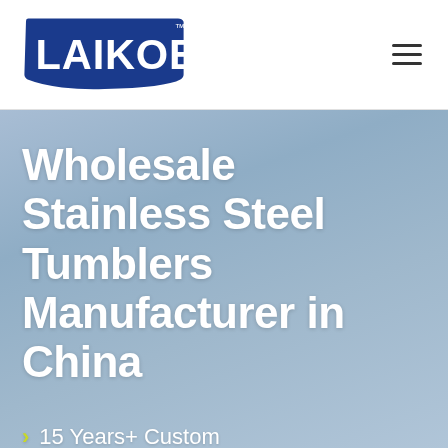LAIKOE™
Wholesale Stainless Steel Tumblers Manufacturer in China
15 Years+ Custom